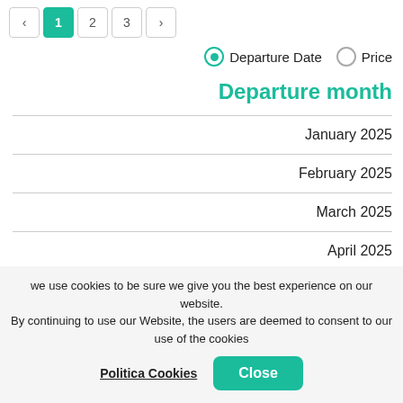Pagination: < 1 2 3 >
Departure Date  Price (radio buttons)
Departure month
January 2025
February 2025
March 2025
April 2025
May 2025
June 2025
we use cookies to be sure we give you the best experience on our website. By continuing to use our Website, the users are deemed to consent to our use of the cookies
Politica Cookies
Close